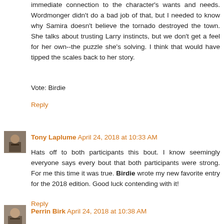immediate connection to the character's wants and needs. Wordmonger didn't do a bad job of that, but I needed to know why Samira doesn't believe the tornado destroyed the town. She talks about trusting Larry instincts, but we don't get a feel for her own--the puzzle she's solving. I think that would have tipped the scales back to her story.
Vote: Birdie
Reply
Tony Laplume  April 24, 2018 at 10:33 AM
Hats off to both participants this bout. I know seemingly everyone says every bout that both participants were strong. For me this time it was true. Birdie wrote my new favorite entry for the 2018 edition. Good luck contending with it!
Reply
Perrin Birk  April 24, 2018 at 10:38 AM